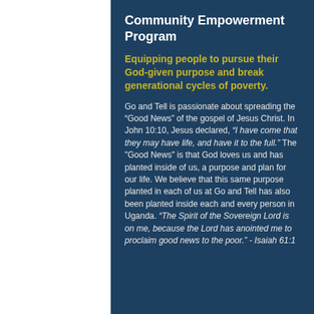Community Empowerment Program
Equipping people to pursue their God-given purpose and break generational cycles of poverty.
Go and Tell is passionate about spreading the “Good News” of the gospel of Jesus Christ. In John 10:10, Jesus declared, “I have come that they may have life, and have it to the full.” The "Good News" is that God loves us and has planted inside of us, a purpose and plan for our life. We believe that this same purpose planted in each of us at Go and Tell has also been planted inside each and every person in Uganda. “The Spirit of the Sovereign Lord is on me, because the Lord has anointed me to proclaim good news to the poor.” - Isaiah 61:1